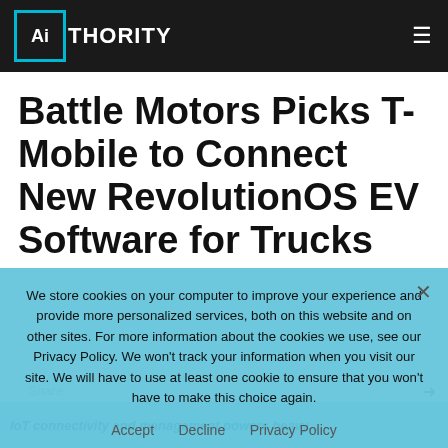AIThority
Battle Motors Picks T-Mobile to Connect New RevolutionOS EV Software for Trucks
We store cookies on your computer to improve your experience and provide more personalized services, both on this website and on other sites. For more information about the cookies we use, see our Privacy Policy. We won't track your information when you visit our site. We will have to use at least one cookie to ensure that you won't have to make this choice again.
Accept   Decline   Privacy Policy
IoT connectivity and management powers heavy...